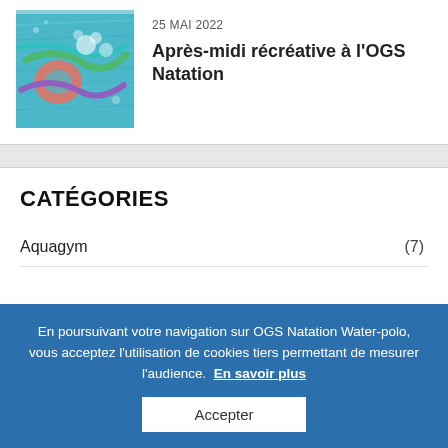[Figure (photo): Aerial view of a swimming pool with colorful floats and swimmers in blue water]
25 MAI 2022
Après-midi récréative à l'OGS Natation
CATÉGORIES
Aquagym (7)
En poursuivant votre navigation sur OGS Natation Water-polo, vous acceptez l'utilisation de cookies tiers permettant de mesurer l'audience.  En savoir plus
Accepter